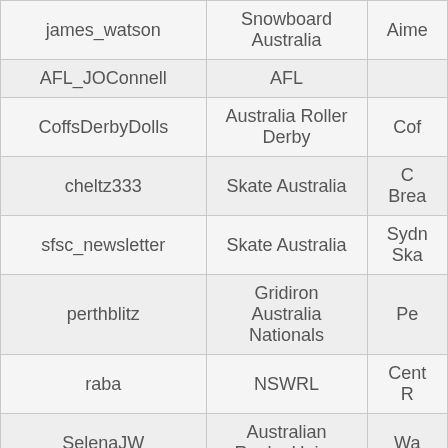| Username | Organization | Club/Team |
| --- | --- | --- |
| james_watson | Snowboard Australia | Aime... |
| AFL_JOConnell | AFL |  |
| CoffsDerbyDolls | Australia Roller Derby | Cof... |
| cheltz333 | Skate Australia | C... Brea... |
| sfsc_newsletter | Skate Australia | Sydn... Ska... |
| perthblitz | Gridiron Australia Nationals | Pe... |
| raba | NSWRL | Cent... |
| SelenaJW | Australian Rugby Union | Wa... |
| BCRollerDerbyHB | New Zealand Roller Derby | Ba... |